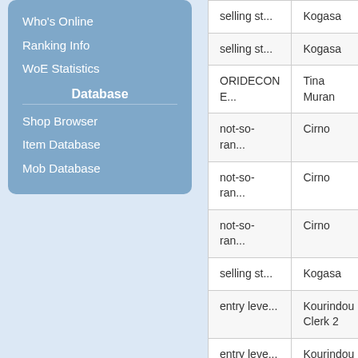Who's Online
Ranking Info
WoE Statistics
Database
Shop Browser
Item Database
Mob Database
| Name | Owner |
| --- | --- |
| selling st... | Kogasa |
| selling st... | Kogasa |
| ORIDECON E... | Tina Muran |
| not-so-ran... | Cirno |
| not-so-ran... | Cirno |
| not-so-ran... | Cirno |
| selling st... | Kogasa |
| entry leve... | Kourindou Clerk 2 |
| entry leve... | Kourindou Clerk 2 |
| entry leve... | Kourindou Clerk 2 |
| entry leve... | Kourindou Clerk 2 |
| (partial row) | (partial) |